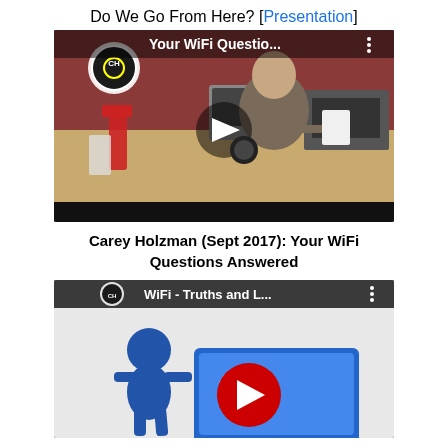Do We Go From Here?  [Presentation]
[Figure (screenshot): YouTube video thumbnail: Carey Holzman in a kitchen setting holding papers, with title 'Your WiFi Questio...' and a play button overlay]
Carey Holzman (Sept 2017): Your WiFi Questions Answered
[Figure (screenshot): YouTube video thumbnail: animated blue figure character with WiFi text and YouTube play button, title 'WiFi - Truths and L...']